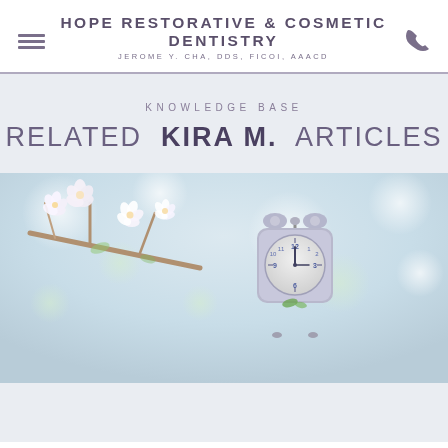HOPE RESTORATIVE & COSMETIC DENTISTRY | JEROME Y. CHA, DDS, FICOI, AAACD
KNOWLEDGE BASE
RELATED KIRA M. ARTICLES
[Figure (photo): Photo of white cherry blossoms on a branch with a vintage alarm clock in the foreground, soft bokeh background]